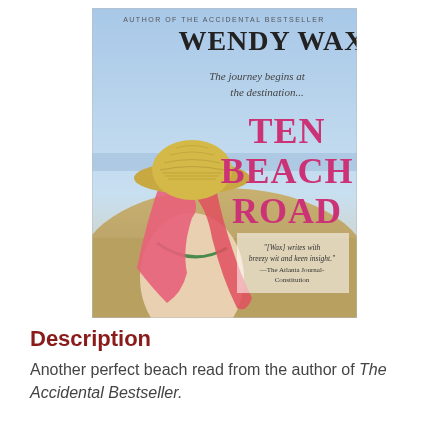[Figure (illustration): Book cover of 'Ten Beach Road' by Wendy Wax. Shows a woman from behind wearing a straw hat with a pink scarf, standing on a beach. Text on cover: 'AUTHOR OF THE ACCIDENTAL BESTSELLER', 'WENDY WAX', 'The journey begins at the destination...', 'TEN BEACH ROAD', and a quote '[Wax] writes with breezy wit and keen insight.' —The Atlanta Journal-Constitution]
Description
Another perfect beach read from the author of The Accidental Bestseller.